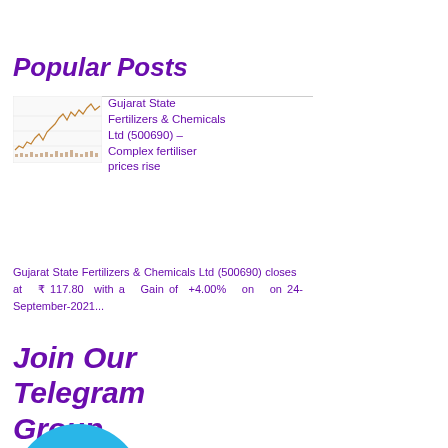Popular Posts
[Figure (continuous-plot): Small stock price line chart thumbnail showing upward trending price with volatility, with a smaller volume/indicator chart below.]
Gujarat State Fertilizers & Chemicals Ltd (500690) – Complex fertiliser prices rise
Gujarat State Fertilizers & Chemicals Ltd (500690) closes at ₹ 117.80 with a Gain of +4.00% on on 24-September-2021...
Join Our Telegram Group
[Figure (logo): Telegram logo — large blue circle with white paper plane icon]